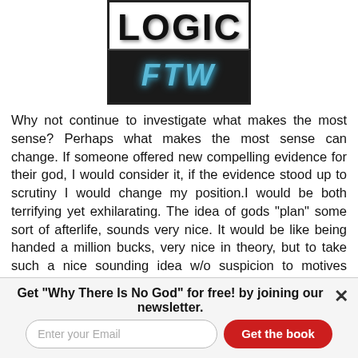[Figure (logo): Logo showing 'LOGIC' in bold black text on white background above 'FTW' in metallic blue italic text on dark background]
Why not continue to investigate what makes the most sense? Perhaps what makes the most sense can change. If someone offered new compelling evidence for their god, I would consider it, if the evidence stood up to scrutiny I would change my position.I would be both terrifying yet exhilarating. The idea of gods "plan" some sort of afterlife, sounds very nice. It would be like being handed a million bucks, very nice in theory, but to take such a nice sounding idea w/o suspicion to motives behind it seems very foolish to me I would investigate it thoroughly before just accepting a million bucks.
Get "Why There Is No God" for free! by joining our newsletter.